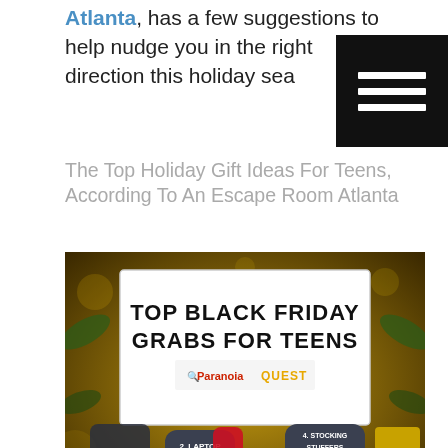Atlanta, has a few suggestions to help nudge you in the right direction this holiday sea
[Figure (other): Hamburger menu icon (three white horizontal lines on black background)]
The Top Holiday Gift Ideas For Teens, According To An Escape Room Atlanta
[Figure (infographic): Top Black Friday Grabs For Teens infographic from Paranoia Quest showing: 1. Video Games, 2. Laptop, 3. Smartwatch, 4. Stocking Stuffers, 5. Gift Card — set against a Christmas-themed gold/bokeh background]
[Figure (other): Book Now yellow button overlay]
1. Video Games
At an averag
[Figure (other): Gift Cards yellow button overlay]
ontaining